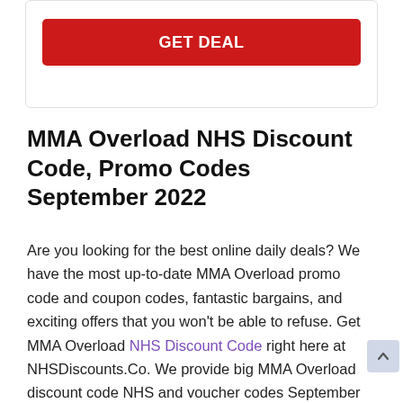[Figure (other): GET DEAL button inside a card/box UI element]
MMA Overload NHS Discount Code, Promo Codes September 2022
Are you looking for the best online daily deals? We have the most up-to-date MMA Overload promo code and coupon codes, fantastic bargains, and exciting offers that you won't be able to refuse. Get MMA Overload NHS Discount Code right here at NHSDiscounts.Co. We provide big MMA Overload discount code NHS and voucher codes September 2022. Get the most up-to-date promo codes, discount deals, and special offers. We locate the most cost-